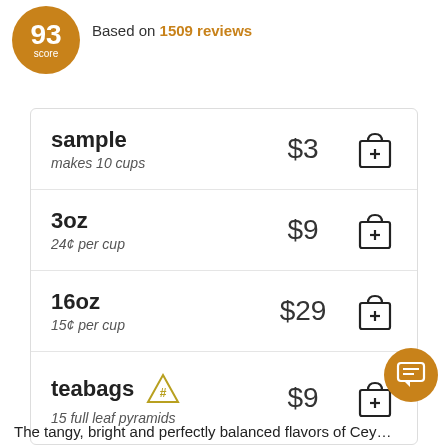[Figure (infographic): Score badge: circular orange badge showing '93 score']
Based on 1509 reviews
| Product | Price | Add |
| --- | --- | --- |
| sample
makes 10 cups | $3 | [bag icon] |
| 3oz
24¢ per cup | $9 | [bag icon] |
| 16oz
15¢ per cup | $29 | [bag icon] |
| teabags [pyramid] 
15 full leaf pyramids | $9 | [bag icon] |
[Figure (infographic): Orange chat bubble button in bottom right corner]
The tangy, bright and perfectly balanced flavors of Cey…